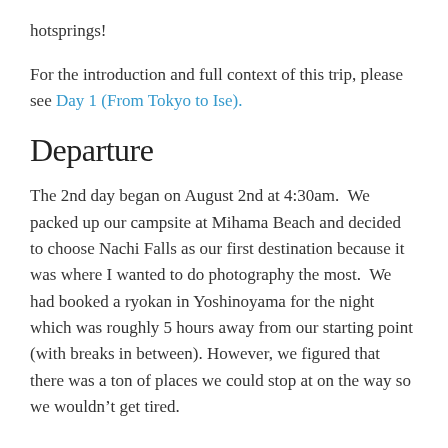hotsprings!
For the introduction and full context of this trip, please see Day 1 (From Tokyo to Ise).
Departure
The 2nd day began on August 2nd at 4:30am.  We packed up our campsite at Mihama Beach and decided to choose Nachi Falls as our first destination because it was where I wanted to do photography the most.  We had booked a ryokan in Yoshinoyama for the night which was roughly 5 hours away from our starting point (with breaks in between). However, we figured that there was a ton of places we could stop at on the way so we wouldn't get tired.